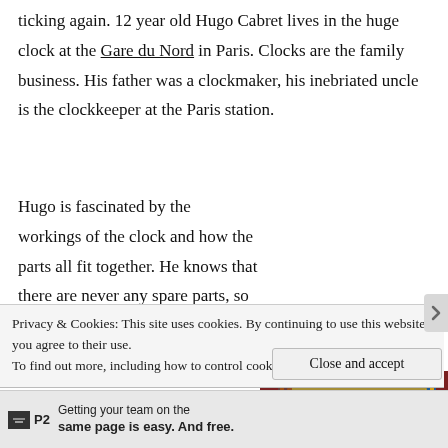ticking again. 12 year old Hugo Cabret lives in the huge clock at the Gare du Nord in Paris. Clocks are the family business. His father was a clockmaker, his inebriated uncle is the clockkeeper at the Paris station.
Hugo is fascinated by the workings of the clock and how the parts all fit together. He knows that there are never any spare parts, so anything left over has to fit somewhere, and
[Figure (photo): Cover of the book 'The Invention of Hugo Cabret' by Brian Selznick, shown as a physical book with ornate gold and blue cover design featuring a keyhole motif and cityscape.]
Privacy & Cookies: This site uses cookies. By continuing to use this website, you agree to their use.
To find out more, including how to control cookies, see here: Cookie Policy
Close and accept
P2  Getting your team on the same page is easy. And free.